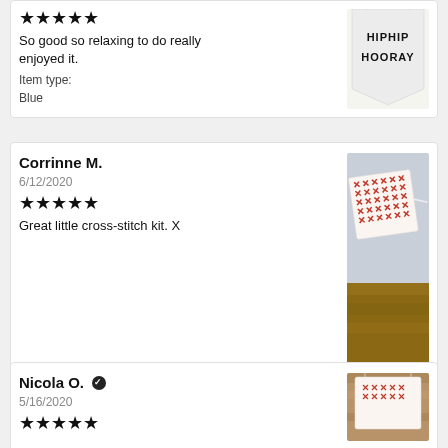[Figure (photo): Product photo of a cross-stitch banner reading HIPHIP HOORAY on white fabric]
So good so relaxing to do really enjoyed it.
Item type:
Blue
Corrinne M.
6/12/2020
[Figure (photo): Product photo of a cross-stitch piece with red X stitching pattern on white fabric]
Great little cross-stitch kit. X
Nicola O.
5/16/2020
[Figure (photo): Product photo of a cross-stitch banner with red pattern hanging on wood background]